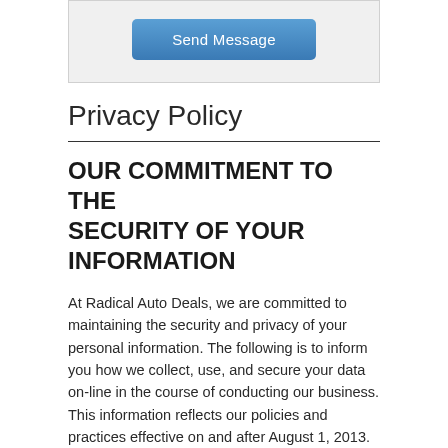[Figure (other): A gray box with a blue 'Send Message' button centered inside it]
Privacy Policy
OUR COMMITMENT TO THE SECURITY OF YOUR INFORMATION
At Radical Auto Deals, we are committed to maintaining the security and privacy of your personal information. The following is to inform you how we collect, use, and secure your data on-line in the course of conducting our business. This information reflects our policies and practices effective on and after August 1, 2013.
To protect your information, and to prevent unauthorized access, maintain data accuracy, and ensure the correct use of information, we have put in place appropriate physical, electronic, and managerial procedures to safeguard and